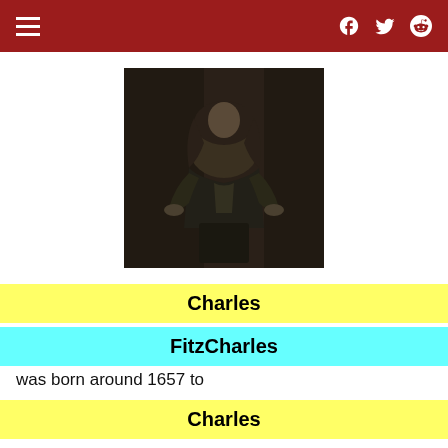≡  f  🐦  reddit
[Figure (photo): Historical black-and-white illustration of a person in period clothing, likely 17th century, wearing an elaborate wig and ornate garments.]
Charles
FitzCharles
was born around 1657 to
Charles
' mistress Catherine Pegge, the daughter of Thomas Pegge of Yeldersley in Derbyshire.